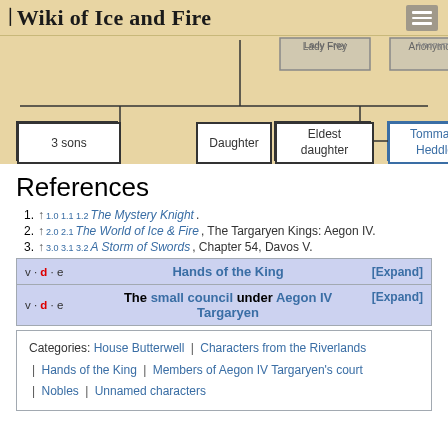A Wiki of Ice and Fire
[Figure (organizational-chart): Partial family tree showing: Lady Frey, Anonymous (first wife), Unknown (first wife) at top; 3 sons, Eldest daughter, Tommard Heddle, Daughter nodes below connected by lines]
References
1. ↑ 1.0 1.1 1.2 The Mystery Knight.
2. ↑ 2.0 2.1 The World of Ice & Fire, The Targaryen Kings: Aegon IV.
3. ↑ 3.0 3.1 3.2 A Storm of Swords, Chapter 54, Davos V.
| v·d·e | Hands of the King | [Expand] |
| v·d·e | The small council under Aegon IV Targaryen | [Expand] |
Categories: House Butterwell | Characters from the Riverlands | Hands of the King | Members of Aegon IV Targaryen's court | Nobles | Unnamed characters